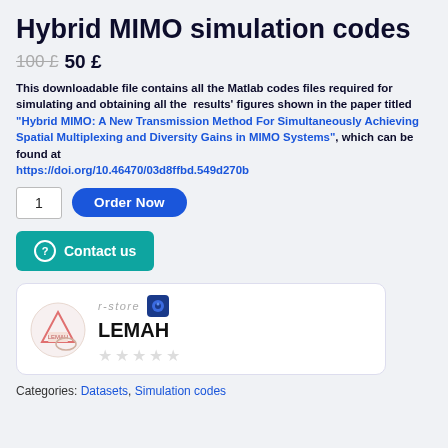Hybrid MIMO simulation codes
100 £  50 £
This downloadable file contains all the Matlab codes files required for simulating and obtaining all the  results' figures shown in the paper titled "Hybrid MIMO: A New Transmission Method For Simultaneously Achieving Spatial Multiplexing and Diversity Gains in MIMO Systems", which can be found at https://doi.org/10.46470/03d8ffbd.549d270b
[Figure (other): Order quantity input box showing '1' and a blue 'Order Now' button]
[Figure (other): Teal 'Contact us' button with question mark icon]
[Figure (other): Store card showing r-store logo, LEMAH store name, and empty star rating]
Categories: Datasets, Simulation codes